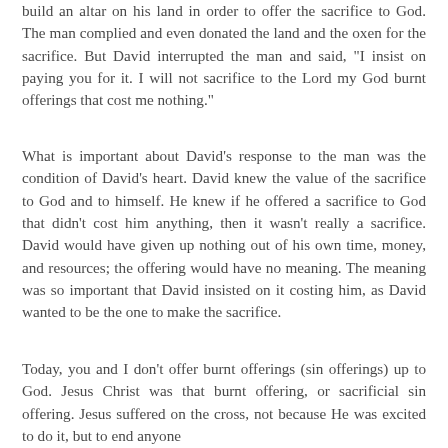build an altar on his land in order to offer the sacrifice to God. The man complied and even donated the land and the oxen for the sacrifice. But David interrupted the man and said, "I insist on paying you for it. I will not sacrifice to the Lord my God burnt offerings that cost me nothing."
What is important about David's response to the man was the condition of David's heart. David knew the value of the sacrifice to God and to himself. He knew if he offered a sacrifice to God that didn't cost him anything, then it wasn't really a sacrifice. David would have given up nothing out of his own time, money, and resources; the offering would have no meaning. The meaning was so important that David insisted on it costing him, as David wanted to be the one to make the sacrifice.
Today, you and I don't offer burnt offerings (sin offerings) up to God. Jesus Christ was that burnt offering, or sacrificial sin offering. Jesus suffered on the cross, not because He was excited to do it, but to end anyone